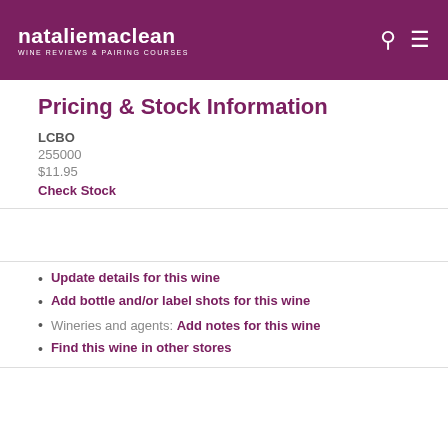nataliemaclean WINE REVIEWS & PAIRING COURSES
Pricing & Stock Information
LCBO
255000
$11.95
Check Stock
Update details for this wine
Add bottle and/or label shots for this wine
Wineries and agents: Add notes for this wine
Find this wine in other stores